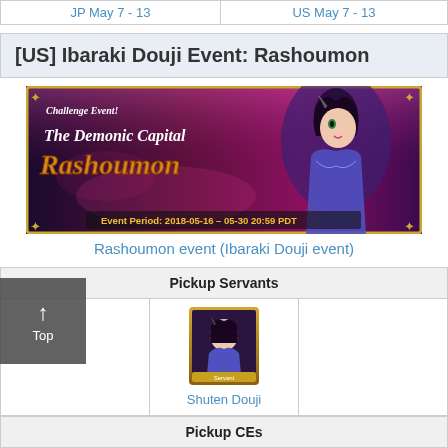| JP May 7 - 13 | US May 7 - 13 |
| --- | --- |
[US] Ibaraki Douji Event: Rashoumon
[Figure (illustration): Challenge Event banner for 'The Demonic Capital Rashoumon' featuring anime-style character Ibaraki Douji. Event Period: 2018-05-16 - 05-30 20:59 PDT]
Rashoumon event (Ibaraki Douji event)
| Pickup Servants |
| --- |
| [image: Shuten Douji servant card]
Shuten Douji |
| Pickup CEs |
| --- |